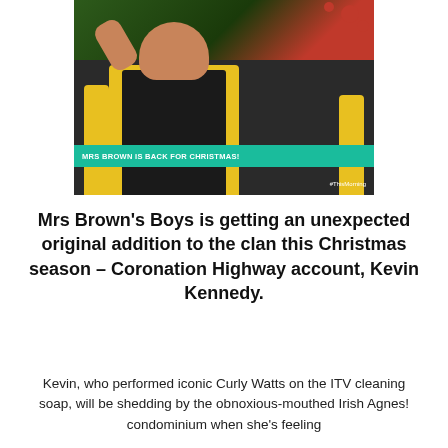[Figure (photo): A person wearing a yellow shirt and black vest, photographed against a Christmas tree background. A teal caption bar reads 'MRS BROWN IS BACK FOR CHRISTMAS!' with '#ThisMorning' watermark in the lower right corner.]
Mrs Brown's Boys is getting an unexpected original addition to the clan this Christmas season – Coronation Highway account, Kevin Kennedy.
Kevin, who performed iconic Curly Watts on the ITV cleaning soap, will be shedding by the obnoxious-mouthed Irish Agnes! condominium when she's feeling